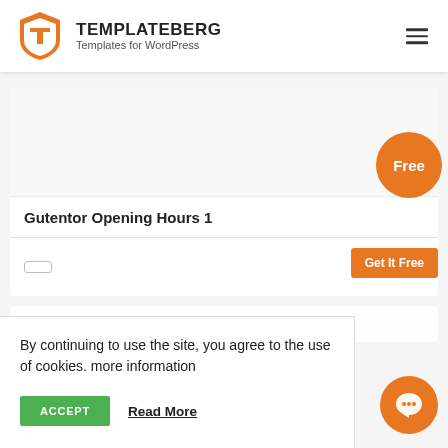TEMPLATEBERG — Templates for WordPress
[Figure (logo): Templateberg orange shield logo with T letter]
Gutentor Opening Hours 1
By continuing to use the site, you agree to the use of cookies. more information
ACCEPT   Read More